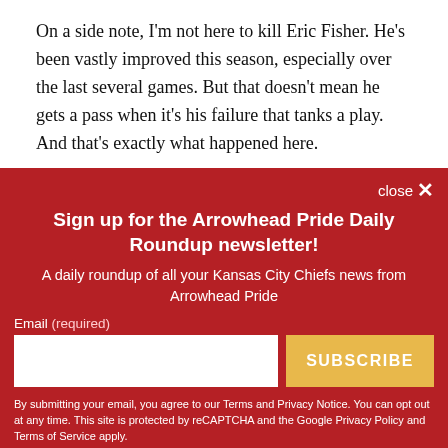On a side note, I'm not here to kill Eric Fisher. He's been vastly improved this season, especially over the last several games. But that doesn't mean he gets a pass when it's his failure that tanks a play. And that's exactly what happened here.
[Figure (other): Newsletter signup overlay with red background. Title: 'Sign up for the Arrowhead Pride Daily Roundup newsletter!' Subtitle: 'A daily roundup of all your Kansas City Chiefs news from Arrowhead Pride'. Contains email input field and SUBSCRIBE button. Close button at top right.]